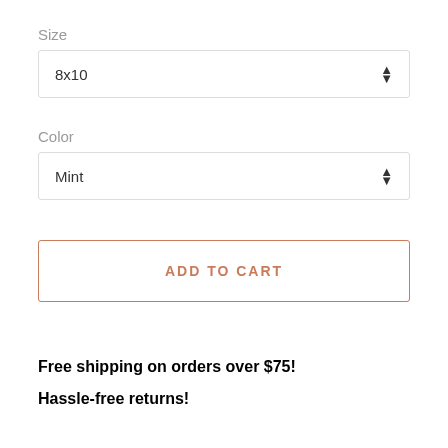Size
8x10
Color
Mint
ADD TO CART
Free shipping on orders over $75!
Hassle-free returns!